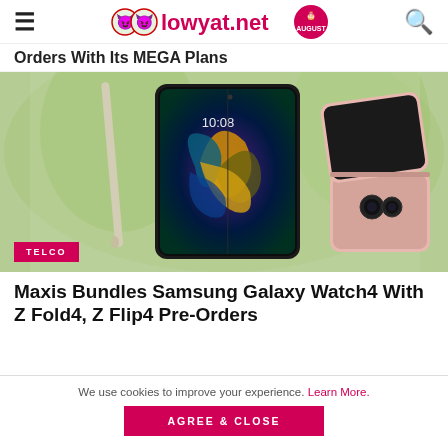lowyat.net
Orders With Its MEGA Plans
[Figure (photo): Samsung Galaxy Z Fold4 and Z Flip4 smartphones displayed on a white surface with green blurred background. TELCO badge overlay in bottom-left.]
Maxis Bundles Samsung Galaxy Watch4 With Z Fold4, Z Flip4 Pre-Orders
We use cookies to improve your experience. Learn More.
AGREE & CLOSE